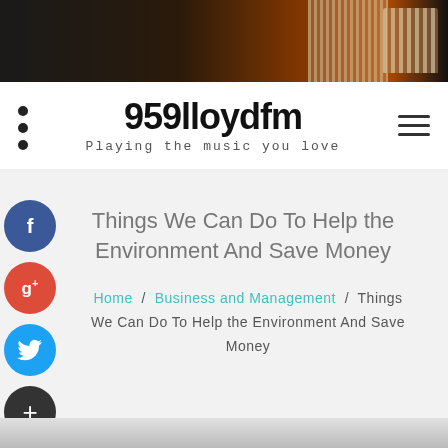[Figure (photo): Dark banner image of a radio studio with a vintage microphone on the right side, warm orange/brown tones]
959lloydfm
Playing the music you love
Things We Can Do To Help the Environment And Save Money
Home / Business and Management / Things We Can Do To Help the Environment And Save Money